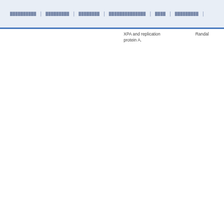██████████ | █████████ | ████████ | ██████████████ | ████ | █████████ |
| XPA and replication protein A. | Randal |